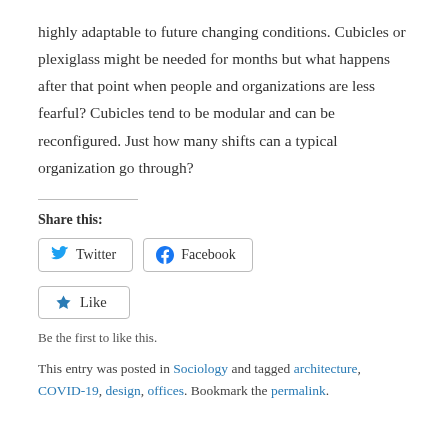highly adaptable to future changing conditions. Cubicles or plexiglass might be needed for months but what happens after that point when people and organizations are less fearful? Cubicles tend to be modular and can be reconfigured. Just how many shifts can a typical organization go through?
Share this:
[Figure (other): Twitter and Facebook share buttons, and a Like button with star icon]
Be the first to like this.
This entry was posted in Sociology and tagged architecture, COVID-19, design, offices. Bookmark the permalink.